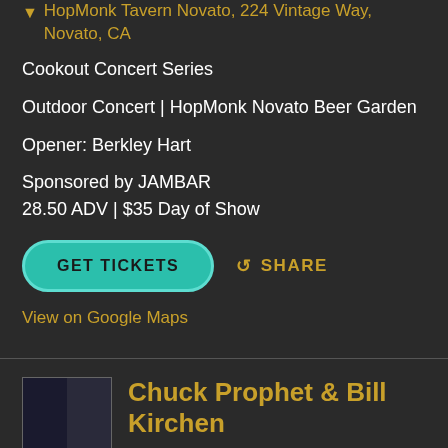HopMonk Tavern Novato, 224 Vintage Way, Novato, CA
Cookout Concert Series
Outdoor Concert | HopMonk Novato Beer Garden
Opener: Berkley Hart
Sponsored by JAMBAR
28.50 ADV | $35 Day of Show
GET TICKETS
SHARE
View on Google Maps
[Figure (photo): Small thumbnail image showing two performers]
Chuck Prophet & Bill Kirchen